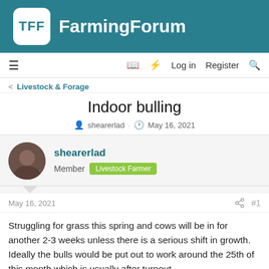TFF FarmingForum
≡  🔖  ⚡  Log in  Register  🔍
< Livestock & Forage
Indoor bulling
shearerlad · May 16, 2021
shearerlad
Member  Livestock Farmer
May 16, 2021
#1
Struggling for grass this spring and cows will be in for another 2-3 weeks unless there is a serious shift in growth. Ideally the bulls would be put out to work around the 25th of this month which is usually after turnout.